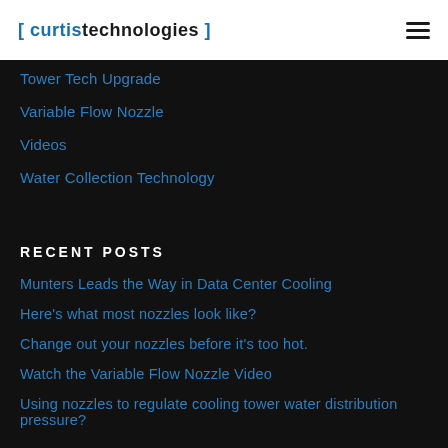[ curtistechnologies ]
Tower Tech Upgrade
Variable Flow Nozzle
Videos
Water Collection Technology
RECENT POSTS
Munters Leads the Way in Data Center Cooling
Here's what most nozzles look like?
Change out your nozzles before it's too hot.
Watch the Variable Flow Nozzle Video
Using nozzles to regulate cooling tower water distribution pressure?